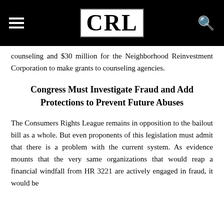CRL
counseling and $30 million for the Neighborhood Reinvestment Corporation to make grants to counseling agencies.
Congress Must Investigate Fraud and Add Protections to Prevent Future Abuses
The Consumers Rights League remains in opposition to the bailout bill as a whole. But even proponents of this legislation must admit that there is a problem with the current system. As evidence mounts that the very same organizations that would reap a financial windfall from HR 3221 are actively engaged in fraud, it would be